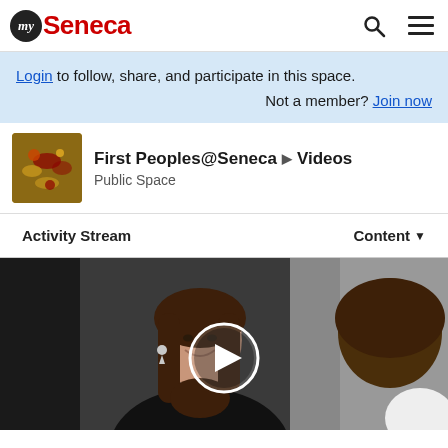my Seneca
Login to follow, share, and participate in this space. Not a member? Join now
First Peoples@Seneca ▶ Videos
Public Space
Activity Stream   Content ▼
[Figure (photo): Video thumbnail showing two women in conversation, with a circular play button overlay in the center.]